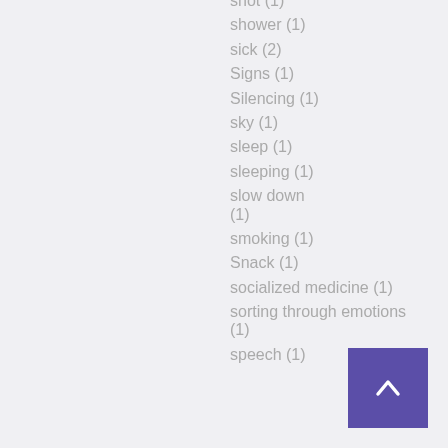shot (1)
shower (1)
sick (2)
Signs (1)
Silencing (1)
sky (1)
sleep (1)
sleeping (1)
slow down (1)
smoking (1)
Snack (1)
socialized medicine (1)
sorting through emotions (1)
speech (1)